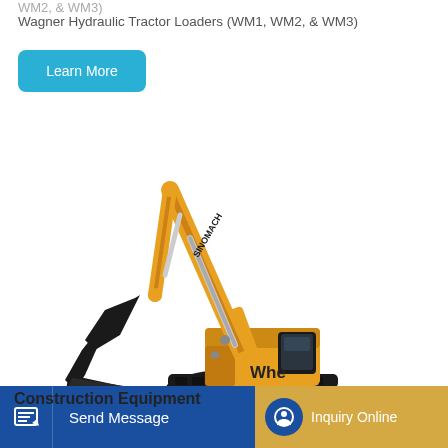WM2, & WM3)
Wagner Hydraulic Tractor Loaders (WM1, WM2, & WM3)
Learn More
[Figure (photo): Yellow Sinomach hydraulic excavator with extended boom and bucket, black undercarriage with tracks, on white background]
Send Message
Whe
Inquiry Online
Construction Equipment